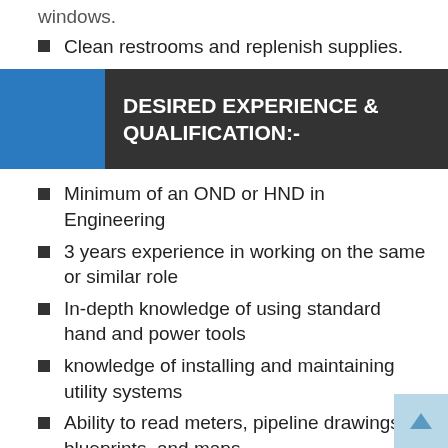Clean restrooms and replenish supplies.
DESIRED EXPERIENCE & QUALIFICATION:-
Minimum of an OND or HND in Engineering
3 years experience in working on the same or similar role
In-depth knowledge of using standard hand and power tools
knowledge of installing and maintaining utility systems
Ability to read meters, pipeline drawings, blueprints, and maps
Knowledge of precautions necessary for ensuring